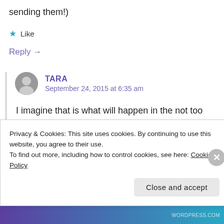sending them!)
★ Like
Reply →
TARA
September 24, 2015 at 6:35 am
I imagine that is what will happen in the not too distant future when I'm back at work full time but I am going to try and
Privacy & Cookies: This site uses cookies. By continuing to use this website, you agree to their use.
To find out more, including how to control cookies, see here: Cookie Policy
Close and accept
WORDPRESS.COM